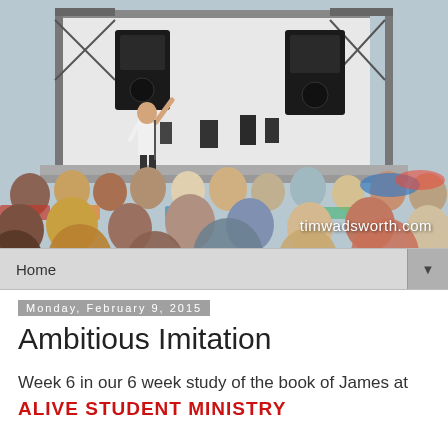[Figure (photo): Outdoor gathering/concert scene with a speaker on stage raising one hand, audience seated in chairs viewed from behind, stage equipment and speakers visible. Watermark 'timwadsworth.com' in lower right.]
Home ▼
Monday, February 9, 2015
Ambitious Imitation
Week 6 in our 6 week study of the book of James at ALIVE STUDENT MINISTRY